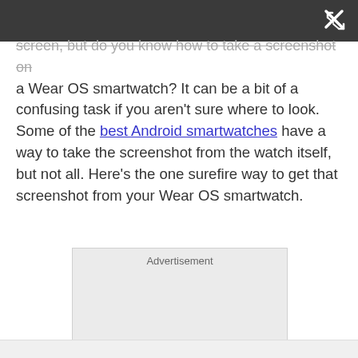[Figure (screenshot): Dark grey top navigation bar with a white close/expand icon (X with arrows) in the top right corner]
screen, but do you know how to take a screenshot on a Wear OS smartwatch? It can be a bit of a confusing task if you aren't sure where to look. Some of the best Android smartwatches have a way to take the screenshot from the watch itself, but not all. Here's the one surefire way to get that screenshot from your Wear OS smartwatch.
[Figure (other): Advertisement placeholder box with light grey background]